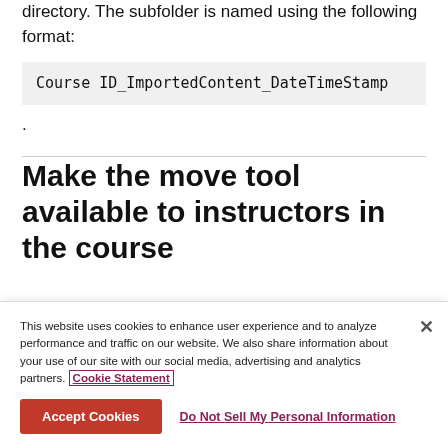directory. The subfolder is named using the following format:
Course ID_ImportedContent_DateTimeStamp
.
Make the move tool available to instructors in the course
Administrators can make this tool available to
This website uses cookies to enhance user experience and to analyze performance and traffic on our website. We also share information about your use of our site with our social media, advertising and analytics partners. Cookie Statement
Accept Cookies
Do Not Sell My Personal Information